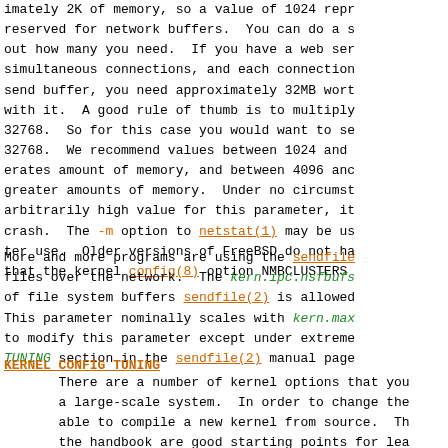imately 2K of memory, so a value of 1024 repr reserved for network buffers. You can do a s out how many you need. If you have a web ser simultaneous connections, and each connection send buffer, you need approximately 32MB wort with it. A good rule of thumb is to multiply 32768. So for this case you would want to se 32768. We recommend values between 1024 and erates amount of memory, and between 4096 anc greater amounts of memory. Under no circumst arbitrarily high value for this parameter, it crash. The -m option to netstat(1) may be us ter use. Older versions of FreeBSD do not ha that the kernel config(8) option NMBCLUSTERS
More and more programs are using the sendfile files over the network. The kern.ipc.nsfbufs of file system buffers sendfile(2) is allowed This parameter nominally scales with kern.max to modify this parameter except under extreme TUNING section in the sendfile(2) manual page
KERNEL CONFIG TUNING
There are a number of kernel options that you a large-scale system. In order to change the able to compile a new kernel from source. Th the handbook are good starting points for lea erally the first thing you do when creating y